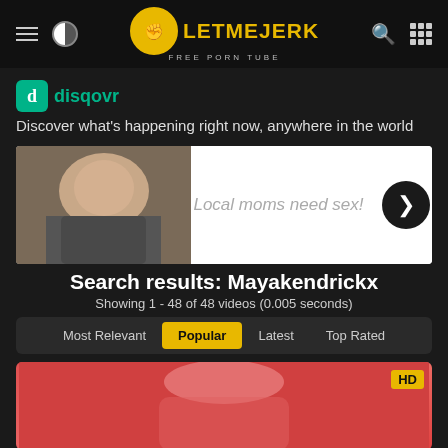LetMeJerk - Free Porn Tube
disqovr - Discover what's happening right now, anywhere in the world
[Figure (photo): Advertisement banner with photo on left and text 'Local moms need sex!' on right with arrow button]
Search results: Mayakendrickx
Showing 1 - 48 of 48 videos (0.005 seconds)
Most Relevant | Popular | Latest | Top Rated
[Figure (photo): Video thumbnail showing HD badge in top-right corner]